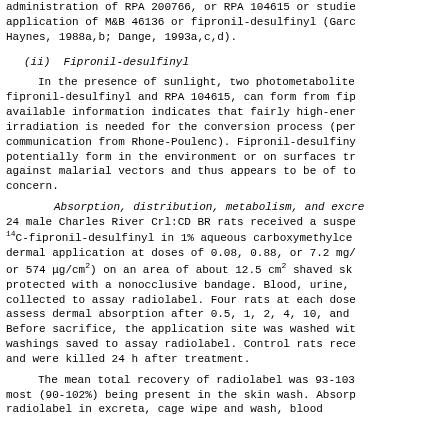administration of RPA 200766, or RPA 104615 or studies of application of M&B 46136 or fipronil-desulfinyl (Garc Haynes, 1988a,b; Dange, 1993a,c,d).
(ii) Fipronil-desulfinyl
In the presence of sunlight, two photometabolites fipronil-desulfinyl and RPA 104615, can form from fipronil. available information indicates that fairly high-energy irradiation is needed for the conversion process (personal communication from Rhone-Poulenc). Fipronil-desulfinyl potentially form in the environment or on surfaces treated against malarial vectors and thus appears to be of toxicological concern.
Absorption, distribution, metabolism, and excretion. 24 male Charles River Crl:CD BR rats received a suspension of 14C-fipronil-desulfinyl in 1% aqueous carboxymethylcellulose by dermal application at doses of 0.08, 0.88, or 7.2 mg/rat (6.4, or 574 μg/cm2) on an area of about 12.5 cm2 shaved skin, protected with a nonocclusive bandage. Blood, urine, and feces collected to assay radiolabel. Four rats at each dose level to assess dermal absorption after 0.5, 1, 2, 4, 10, and 24 hours. Before sacrifice, the application site was washed with water and washings saved to assay radiolabel. Control rats received vehicle and were killed 24 h after treatment.
The mean total recovery of radiolabel was 93-103% with most (90-102%) being present in the skin wash. Absorption radiolabel in excreta, cage wipe and wash, blood carcass